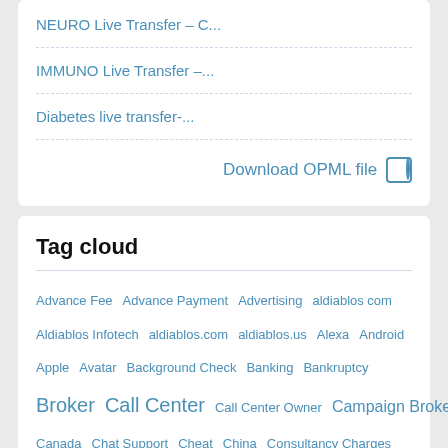NEURO Live Transfer – C...
IMMUNO Live Transfer –...
Diabetes live transfer-...
Download OPML file
Tag cloud
Advance Fee  Advance Payment  Advertising  aldiablos com  Aldiablos Infotech  aldiablos.com  aldiablos.us  Alexa  Android  Apple  Avatar  Background Check  Banking  Bankruptcy  Broker  Call Center  Call Center Owner  Campaign Broker  Canada  Chat Support  Cheat  China  Consultancy Charges  Consultancy  Consultant  Contract  Customer  Credit Card...